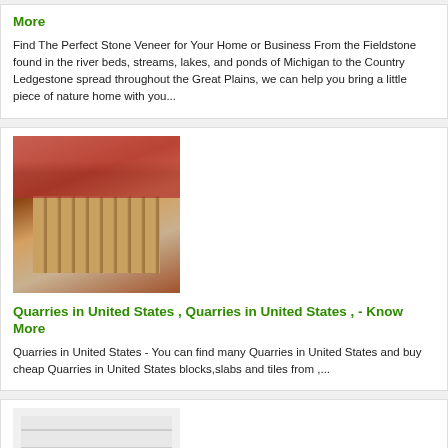Find The Perfect Stone Veneer for Your Home or Business From the Fieldstone found in the river beds, streams, lakes, and ponds of Michigan to the Country Ledgestone spread throughout the Great Plains, we can help you bring a little piece of nature home with you...
[Figure (photo): Industrial wooden slat conveyor or sorting table with red metal frame in a warehouse]
Quarries in United States , Quarries in United States , - Know More
Quarries in United States - You can find many Quarries in United States and buy cheap Quarries in United States blocks,slabs and tiles from ,...
[Figure (photo): Hardware kit with metal plates, bolts, nuts, washers, and a long black strap on white background]